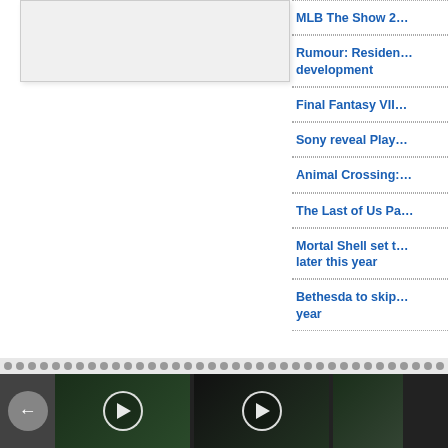[Figure (screenshot): White/gray image placeholder box at top left]
MLB The Show 2(truncated)
Rumour: Residen(truncated) development
Final Fantasy VII(truncated)
Sony reveal Play(truncated)
Animal Crossing:(truncated)
The Last of Us Pa(truncated)
Mortal Shell set t(truncated) later this year
Bethesda to skip(truncated) year
[Figure (screenshot): Video thumbnail strip at bottom with play buttons and navigation arrow. Three video thumbnails visible with dark green tones and circular play buttons.]